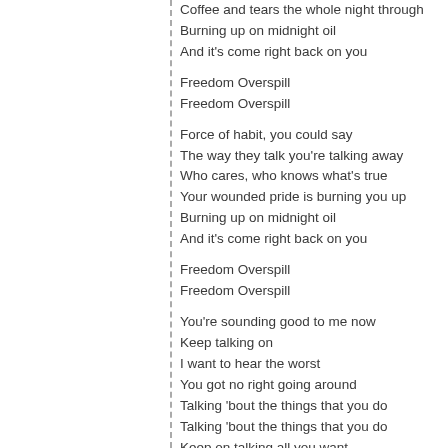Coffee and tears the whole night through
Burning up on midnight oil
And it's come right back on you

Freedom Overspill
Freedom Overspill

Force of habit, you could say
The way they talk you're talking away
Who cares, who knows what's true
Your wounded pride is burning you up
Burning up on midnight oil
And it's come right back on you

Freedom Overspill
Freedom Overspill

You're sounding good to me now
Keep talking on
I want to hear the worst
You got no right going around
Talking 'bout the things that you do
Talking 'bout the things that you do
Keep on talking all you want
Well you don't waste a minute of time
Who cares, who knows what's true
Coffee and tears the whole night through
Burning up on midnight oil
And it's come right back on you